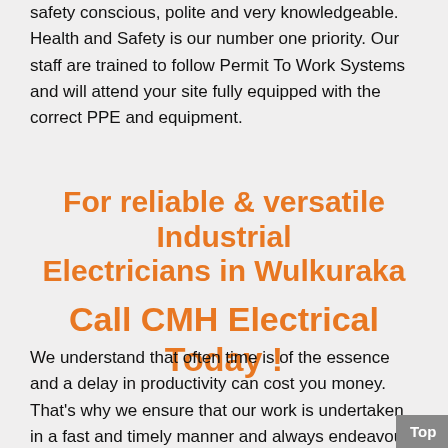safety conscious, polite and very knowledgeable. Health and Safety is our number one priority. Our staff are trained to follow Permit To Work Systems and will attend your site fully equipped with the correct PPE and equipment.
For reliable & versatile Industrial Electricians in Wulkuraka

Call CMH Electrical Today !
We understand that often time is of the essence and a delay in productivity can cost you money. That's why we ensure that our work is undertaken in a fast and timely manner and always endeavour to meet your deadlines. CMH Electrical can also provide a 24/7 emergency call service with rapid response for Industrial
Top